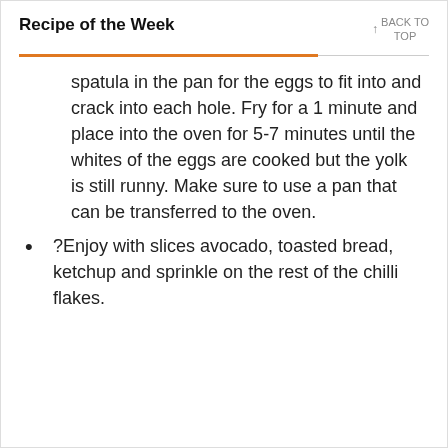Recipe of the Week
↑ BACK TO TOP
spatula in the pan for the eggs to fit into and crack into each hole. Fry for a 1 minute and place into the oven for 5-7 minutes until the whites of the eggs are cooked but the yolk is still runny. Make sure to use a pan that can be transferred to the oven.
?Enjoy with slices avocado, toasted bread, ketchup and sprinkle on the rest of the chilli flakes.